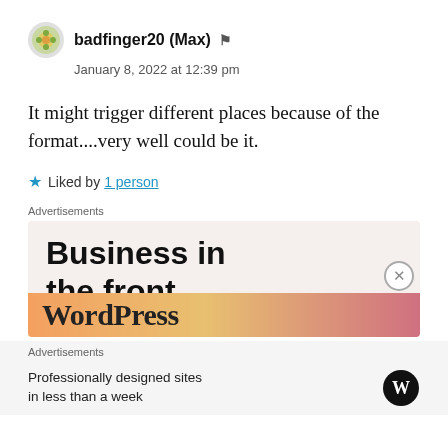badfinger20 (Max) [admin icon]
January 8, 2022 at 12:39 pm
It might trigger different places because of the format....very well could be it.
★ Liked by 1 person
Advertisements
[Figure (illustration): Advertisement banner: 'Business in the front...' text on light beige background, with gradient orange-pink bar below showing 'WordPress' text partially visible.]
Advertisements
Professionally designed sites in less than a week